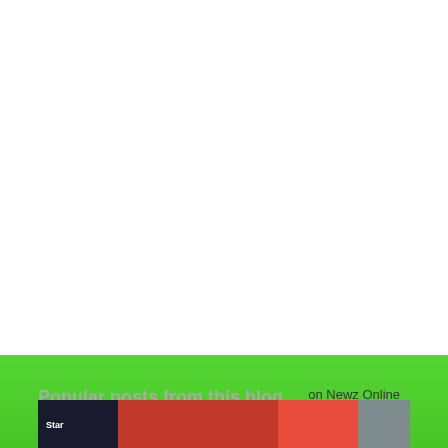[Figure (other): A large green rounded button with white bold text reading READ MORE]
on Newz Online
Popular posts from this blog
[Figure (photo): Partial bottom edge of a photo showing a dark and red colored scene with a star logo at bottom left]